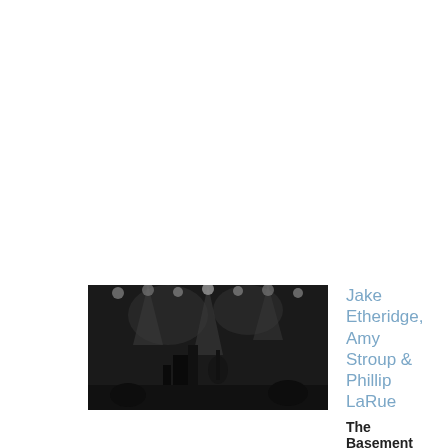[Figure (photo): Black and white photo of a concert stage with performers and stage lighting]
Jake Etheridge, Amy Stroup & Phillip LaRue
The Basement
Sat, Sep 10 9:00 pm
[Figure (photo): Color photo of a concert with orange and red stage lighting, silhouetted performer and crowd]
Pindrop Songwriter Series - feat. Striking Matches, Gabriel Broussard, Makena Hartlin, Henry Conlon, Kadie Jacobs, Ashes & Arrows, Jacques Merlino, Grace Milton, Sean Cunningham